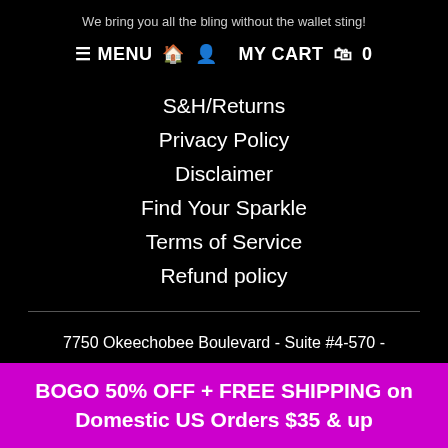We bring you all the bling without the wallet sting!
≡ MENU  🏠  👤  MY CART  🛍  0
S&H/Returns
Privacy Policy
Disclaimer
Find Your Sparkle
Terms of Service
Refund policy
7750 Okeechobee Boulevard - Suite #4-570 -
BOGO 50% OFF + FREE SHIPPING on Domestic US Orders $35 & up